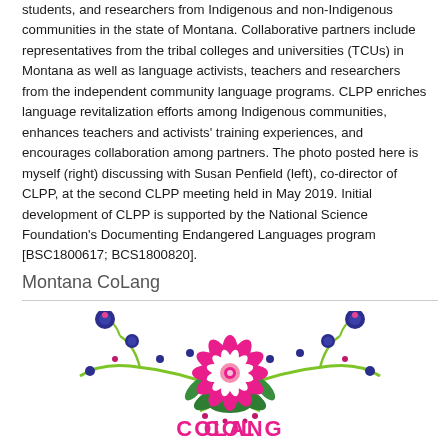students, and researchers from Indigenous and non-Indigenous communities in the state of Montana. Collaborative partners include representatives from the tribal colleges and universities (TCUs) in Montana as well as language activists, teachers and researchers from the independent community language programs. CLPP enriches language revitalization efforts among Indigenous communities, enhances teachers and activists' training experiences, and encourages collaboration among partners. The photo posted here is myself (right) discussing with Susan Penfield (left), co-director of CLPP, at the second CLPP meeting held in May 2019. Initial development of CLPP is supported by the National Science Foundation's Documenting Endangered Languages program [BSC1800617; BCS1800820].
Montana CoLang
[Figure (logo): Montana CoLang 2020 logo featuring a decorative floral design with a large pink/white flower in the center, green leaves, blue circular berries, and magenta dots on vines, with 'COLANG 2020' text beneath in pink and blue.]